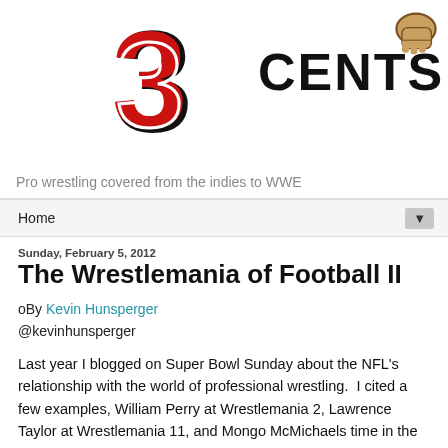[Figure (logo): Blog logo showing a large red stylized number '3' with black outline and the word 'CENTS' in bold black text to the right, with a fist graphic]
Pro wrestling covered from the indies to WWE
Home ▼
Sunday, February 5, 2012
The Wrestlemania of Football II
oBy Kevin Hunsperger
@kevinhunsperger
Last year I blogged on Super Bowl Sunday about the NFL's relationship with the world of professional wrestling.  I cited a few examples, William Perry at Wrestlemania 2, Lawrence Taylor at Wrestlemania 11, and Mongo McMichaels time in the squared circle with WCW.  You can read the first part by